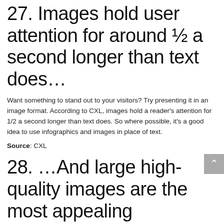27. Images hold user attention for around ½ a second longer than text does…
Want something to stand out to your visitors? Try presenting it in an image format. According to CXL, images hold a reader's attention for 1/2 a second longer than text does. So where possible, it's a good idea to use infographics and images in place of text.
Source: CXL
28. …And large high-quality images are the most appealing
And, if you plan on using images to get your message across, make sure that they are high quality. CXL also